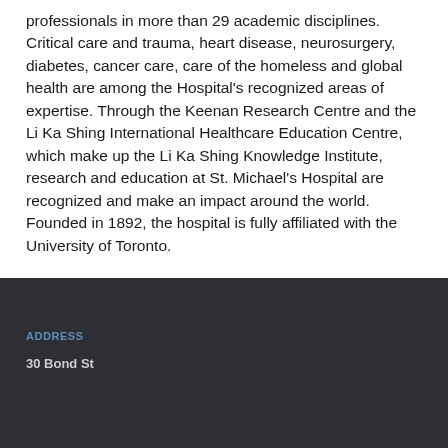professionals in more than 29 academic disciplines. Critical care and trauma, heart disease, neurosurgery, diabetes, cancer care, care of the homeless and global health are among the Hospital's recognized areas of expertise. Through the Keenan Research Centre and the Li Ka Shing International Healthcare Education Centre, which make up the Li Ka Shing Knowledge Institute, research and education at St. Michael's Hospital are recognized and make an impact around the world. Founded in 1892, the hospital is fully affiliated with the University of Toronto.
ADDRESS
30 Bond St